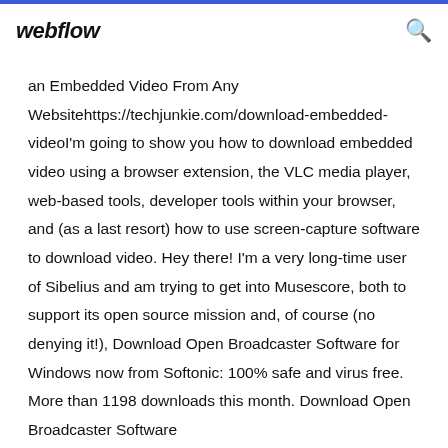webflow
an Embedded Video From Any Websitehttps://techjunkie.com/download-embedded-videoI'm going to show you how to download embedded video using a browser extension, the VLC media player, web-based tools, developer tools within your browser, and (as a last resort) how to use screen-capture software to download video. Hey there! I'm a very long-time user of Sibelius and am trying to get into Musescore, both to support its open source mission and, of course (no denying it!), Download Open Broadcaster Software for Windows now from Softonic: 100% safe and virus free. More than 1198 downloads this month. Download Open Broadcaster Software